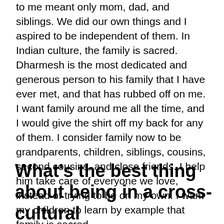to me meant only mom, dad, and siblings. We did our own things and I aspired to be independent of them. In Indian culture, the family is sacred. Dharmesh is the most dedicated and generous person to his family that I have ever met, and that has rubbed off on me. I want family around me all the time, and I would give the shirt off my back for any of them. I consider family now to be grandparents, children, siblings, cousins, second cousins, and close friends. I help him take care of everyone we love, instead of trying to be on my own. I want my children to learn by example that family is sacred.
What's the best thing about being in a cross-cultural